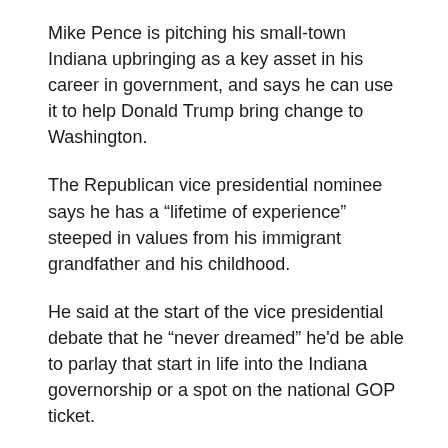Mike Pence is pitching his small-town Indiana upbringing as a key asset in his career in government, and says he can use it to help Donald Trump bring change to Washington.
The Republican vice presidential nominee says he has a “lifetime of experience” steeped in values from his immigrant grandfather and his childhood.
He said at the start of the vice presidential debate that he “never dreamed” he’d be able to parlay that start in life into the Indiana governorship or a spot on the national GOP ticket.
Pence misidentified the host institution of Tuesday night’s debate. He said “thank you to Norwood University for their wonderful hospitality.” The Farmville, Virginia, school hosting the event is Longwood University.